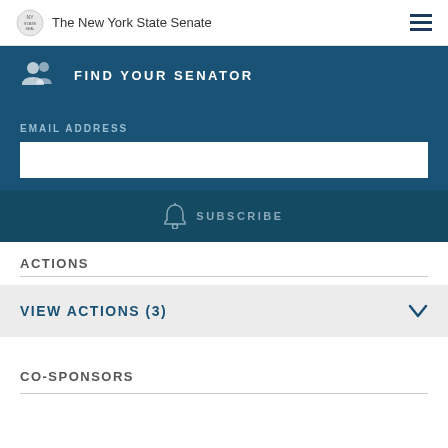The New York State Senate
FIND YOUR SENATOR
EMAIL ADDRESS
SUBSCRIBE
ACTIONS
VIEW ACTIONS (3)
CO-SPONSORS